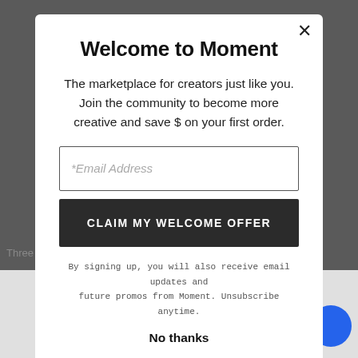[Figure (screenshot): Dark blurred background of a website page behind a modal popup]
Welcome to Moment
The marketplace for creators just like you. Join the community to become more creative and save $ on your first order.
*Email Address
CLAIM MY WELCOME OFFER
By signing up, you will also receive email updates and future promos from Moment. Unsubscribe anytime.
No thanks